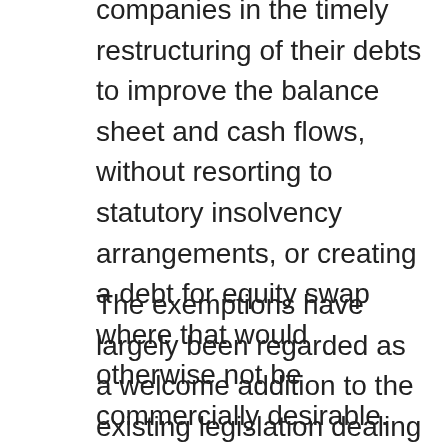companies in the timely restructuring of their debts to improve the balance sheet and cash flows, without resorting to statutory insolvency arrangements, or creating a debt for equity swap where that would otherwise not be commercially desirable.
The exemptions have largely been regarded as a welcome addition to the existing legislation dealing with the taxation of loan relationships in debt restructurings. However, it should be noted that, as currently drafted, the proposed legislation applies only to actual releases or modifications. They do